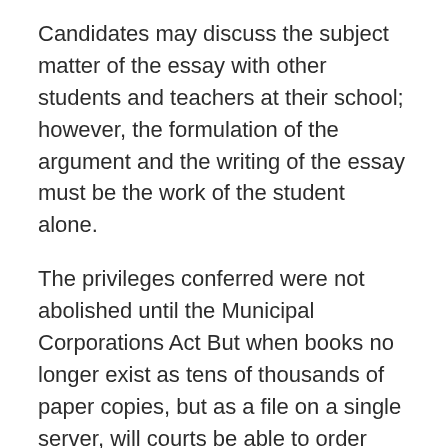Candidates may discuss the subject matter of the essay with other students and teachers at their school; however, the formulation of the argument and the writing of the essay must be the work of the student alone.
The privileges conferred were not abolished until the Municipal Corporations Act But when books no longer exist as tens of thousands of paper copies, but as a file on a single server, will courts be able to order them unpublished once more.
Experimental Measurement of Attitudes Regarding Cybercrime discusses how prosecutors and public opinion are out of step; the former consider protest crimes to be more serious than crimes done for financial gain, while voters take the opposite view.
The problem of designing programs which run robustly on